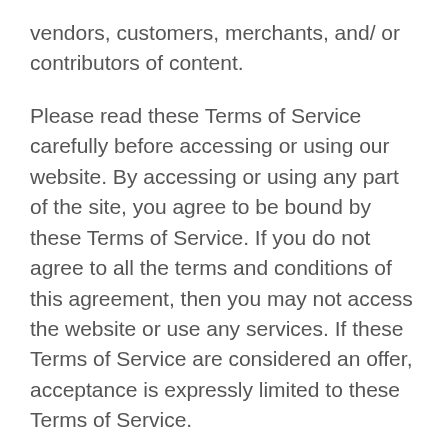vendors, customers, merchants, and/ or contributors of content.
Please read these Terms of Service carefully before accessing or using our website. By accessing or using any part of the site, you agree to be bound by these Terms of Service. If you do not agree to all the terms and conditions of this agreement, then you may not access the website or use any services. If these Terms of Service are considered an offer, acceptance is expressly limited to these Terms of Service.
Any new features or tools which are added to the current store shall also be subject to the Terms of Service. You can review the most current version of the Terms of Service at any time on this page. We reserve the right to update, change or replace any part of these Terms of Service by posting updates and/or